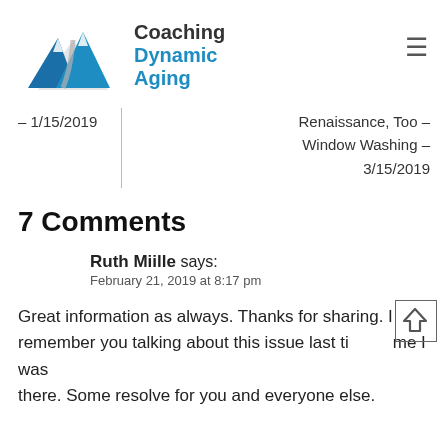[Figure (logo): Coaching Dynamic Aging logo with mountain graphic in blue and grey, text reads Coaching Dynamic Aging]
– 1/15/2019
Renaissance, Too – Window Washing – 3/15/2019
7 Comments
Ruth Miille says:
February 21, 2019 at 8:17 pm
Great information as always. Thanks for sharing. I remember you talking about this issue last time I was there. Some resolve for you and everyone else.